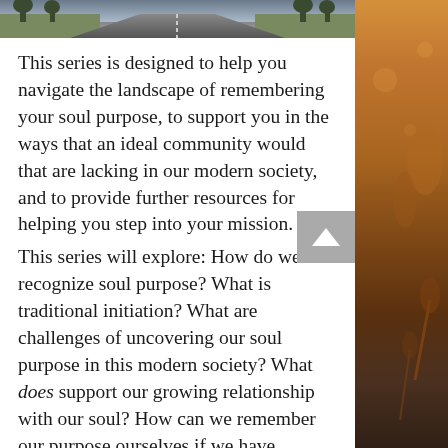[Figure (photo): Top strip showing a road/highway receding into the distance with trees on sides]
This series is designed to help you navigate the landscape of remembering your soul purpose, to support you in the ways that an ideal community would that are lacking in our modern society, and to provide further resources for helping you step into your mission.
This series will explore: How do we recognize soul purpose? What is traditional initiation? What are challenges of uncovering our soul purpose in this modern society? What does support our growing relationship with our soul? How can we remember our purpose ourselves if we have forgotten it? What is it like to be in
[Figure (photo): Right side panel showing warm orange/amber toned nature scene with plants and bokeh lighting]